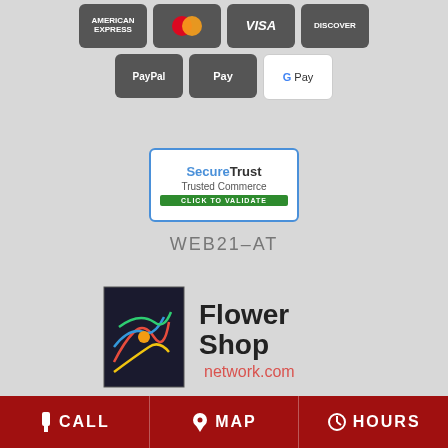[Figure (logo): Payment method icons row 1: American Express, Mastercard, Visa, Discover (dark rounded rectangles)]
[Figure (logo): Payment method icons row 2: PayPal, Apple Pay, Google Pay]
[Figure (logo): SecureTrust Trusted Commerce badge with blue border and green CLICK TO VALIDATE button]
WEB21-AT
[Figure (logo): Flower Shop Network logo with colorful flower graphic and text FlowerShop network.com]
PRESTON, ID FUNERAL HOMES | PRESTON, ID HOSPITALS | PRESTON, ID WEDDING FLOWER VENDORS
CALL  MAP  HOURS